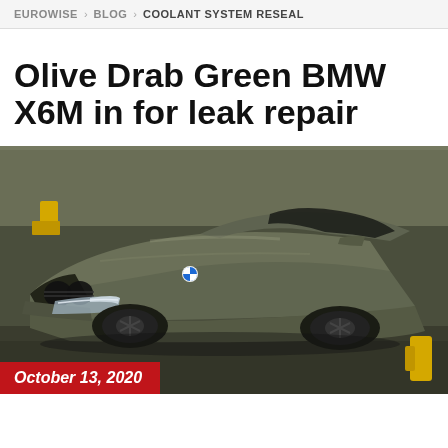EUROWISE › BLOG › COOLANT SYSTEM RESEAL
Olive Drab Green BMW X6M in for leak repair
[Figure (photo): Olive drab green matte BMW X6M parked in a garage/workshop, front three-quarter view, showing the front grille, hood, and side profile. The car has black wheels and black trim. Workshop equipment visible in background.]
October 13, 2020